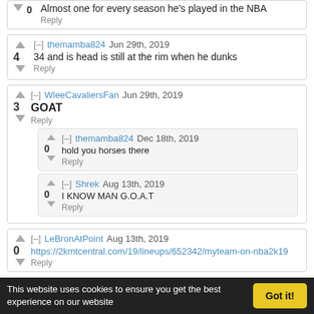0  Almost one for every season he's played in the NBA
Reply
themamba824 Jun 29th, 2019 | 4 | 34 and is head is still at the rim when he dunks
Reply
WleeCavaliersFan Jun 29th, 2019 | 3 | GOAT
Reply
themamba824 Dec 18th, 2019 | 0 | hold you horses there
Reply
Shrek Aug 13th, 2019 | 0 | I KNOW MAN G.O.A.T
Reply
LeBronAtPoint Aug 13th, 2019 | 0 | https://2kmtcentral.com/19/lineups/652342/myteam-on-nba2k19
Reply
This website uses cookies to ensure you get the best experience on our website  Got it!